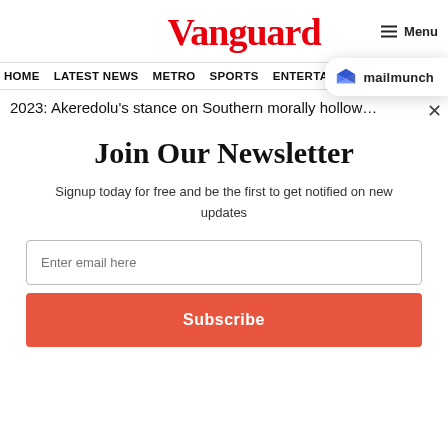Vanguard
Menu
HOME  LATEST NEWS  METRO  SPORTS  ENTERTAINMENT  VIDEOS
2023: Akeredolu’s stance on Southern… morally hollow…
[Figure (logo): MailMunch logo with blue M icon and text 'mailmunch']
Join Our Newsletter
Signup today for free and be the first to get notified on new updates
Enter email here
Subscribe